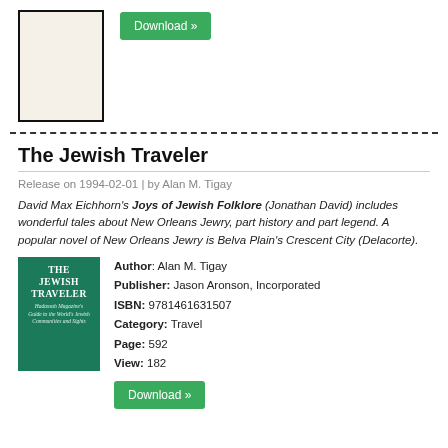[Figure (illustration): Book cover image, partially visible, light cream/beige background with black border]
Download »
The Jewish Traveler
Release on 1994-02-01 | by Alan M. Tigay
David Max Eichhorn's Joys of Jewish Folklore (Jonathan David) includes wonderful tales about New Orleans Jewry, part history and part legend. A popular novel of New Orleans Jewry is Belva Plain's Crescent City (Delacorte).
[Figure (illustration): Book cover of The Jewish Traveler - green cover with white text, Hadassah Magazine's Guide to the World's Jewish Communities and Sights]
Author: Alan M. Tigay
Publisher: Jason Aronson, Incorporated
ISBN: 9781461631507
Category: Travel
Page: 592
View: 182
Download »